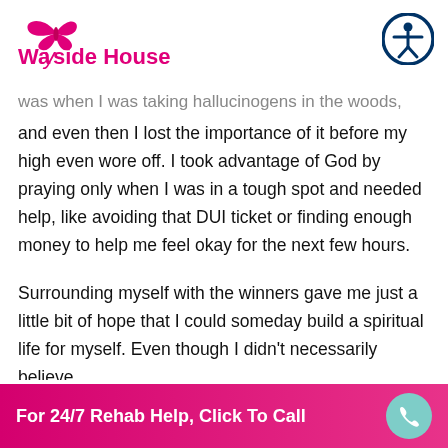Wayside House
was when I was taking hallucinogens in the woods, and even then I lost the importance of it before my high even wore off. I took advantage of God by praying only when I was in a tough spot and needed help, like avoiding that DUI ticket or finding enough money to help me feel okay for the next few hours.
Surrounding myself with the winners gave me just a little bit of hope that I could someday build a spiritual life for myself. Even though I didn't necessarily believe,
For 24/7 Rehab Help, Click To Call